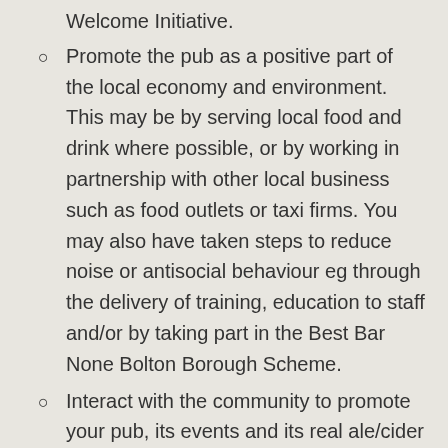Welcome Initiative.
Promote the pub as a positive part of the local economy and environment.  This may be by serving local food and drink where possible, or by working in partnership with other local business such as food outlets or taxi firms.  You may also have taken steps to reduce noise or antisocial behaviour eg through the delivery of training, education to staff and/or by taking part in the Best Bar None Bolton Borough Scheme.
Interact with the community to promote your pub, its events and its real ale/cider through use of social media (eg Twitter, Facebook, Instagram) or other innovative marketing.
Run events which encourage social interactions eg quiz nights or discussion